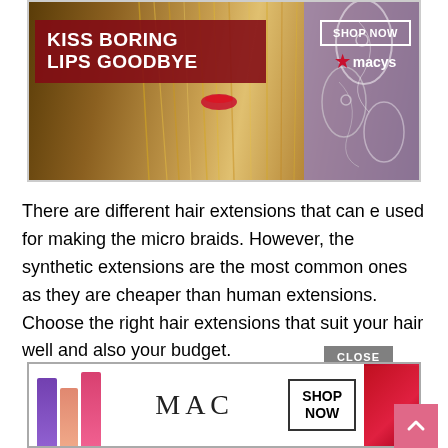[Figure (screenshot): Macy's advertisement banner featuring a woman with long blonde hair and red lips, dark crimson overlay with text 'KISS BORING LIPS GOODBYE' and a 'SHOP NOW' button with the Macy's star logo on the right.]
There are different hair extensions that can e used for making the micro braids. However, the synthetic extensions are the most common ones as they are cheaper than human extensions. Choose the right hair extensions that suit your hair well and also your budget.
[Figure (screenshot): MAC Cosmetics advertisement showing colorful lipsticks (purple, peach, pink, red) with MAC logo in the center and a 'SHOP NOW' button. Includes a 'CLOSE' button above and a pink scroll-to-top arrow button on the right.]